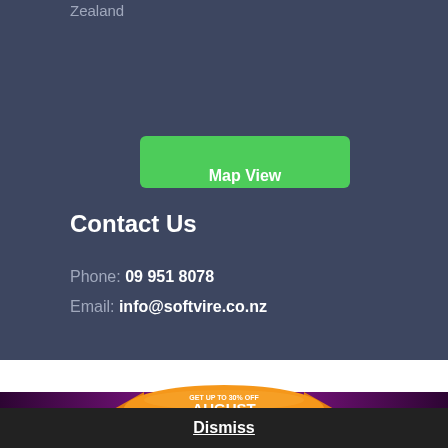Zealand
Map View
Contact Us
Phone: 09 951 8078
Email: info@softvire.co.nz
Follow Us
[Figure (infographic): Orange oval badge with orange ribbon banners and text reading GET UP TO 30% OFF AUGUST with small subtitle text]
Dismiss